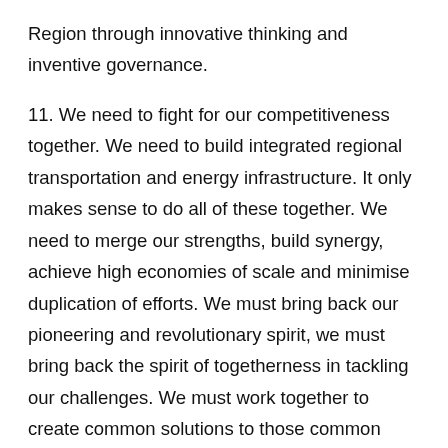Region through innovative thinking and inventive governance.
11. We need to fight for our competitiveness together. We need to build integrated regional transportation and energy infrastructure. It only makes sense to do all of these together. We need to merge our strengths, build synergy, achieve high economies of scale and minimise duplication of efforts. We must bring back our pioneering and revolutionary spirit, we must bring back the spirit of togetherness in tackling our challenges. We must work together to create common solutions to those common challenges. We must strengthen the capacity of our States to work together to deliver regional solutions. We can remain divided, but we can also choose to be united.
12. As a people, there is a decline of relations. The quality of our